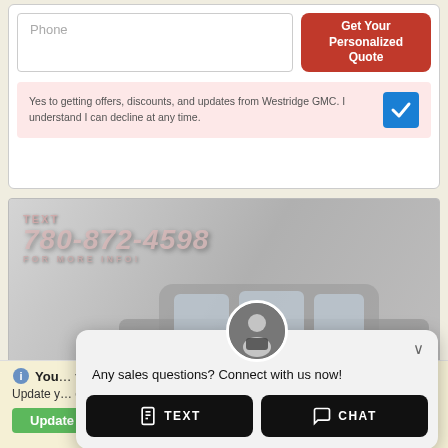Phone
Get Your Personalized Quote
Yes to getting offers, discounts, and updates from Westridge GMC. I understand I can decline at any time.
[Figure (screenshot): Car dealership banner with a dark SUV (Buick), text overlay: TEXT 780-872-4598 FOR MORE INFO!]
[Figure (screenshot): Chat popup widget with agent avatar, message 'Any sales questions? Connect with us now!' and TEXT and CHAT buttons]
Any sales questions? Connect with us now!
TEXT
CHAT
You... f date.
Update y... eed and
Update browser
Ignore